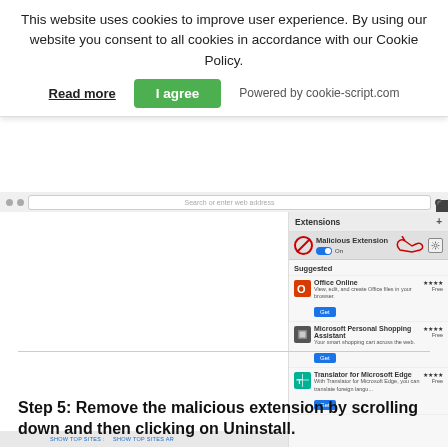This website uses cookies to improve user experience. By using our website you consent to all cookies in accordance with our Cookie Policy.
[Figure (screenshot): Screenshot of Microsoft Edge browser showing Extensions panel with a Malicious Extension highlighted (toggle On), an arrow annotation pointing to settings gear icon, and Suggested extensions: Office Online, Microsoft Personal Shopping Assistant, Translator for Microsoft Edge.]
Step 5: Remove the malicious extension by scrolling down and then clicking on Uninstall.